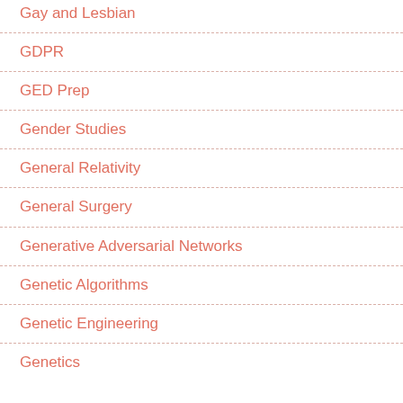Gay and Lesbian
GDPR
GED Prep
Gender Studies
General Relativity
General Surgery
Generative Adversarial Networks
Genetic Algorithms
Genetic Engineering
Genetics